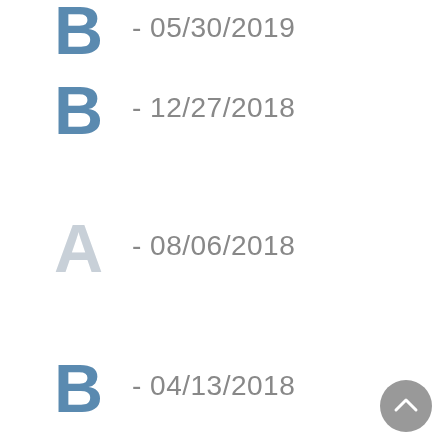B - 05/30/2019
B - 12/27/2018
A - 08/06/2018
B - 04/13/2018
A - 12/19/2017
B - 08/29/2017
B - 05/15/2017
- 02/07/2017